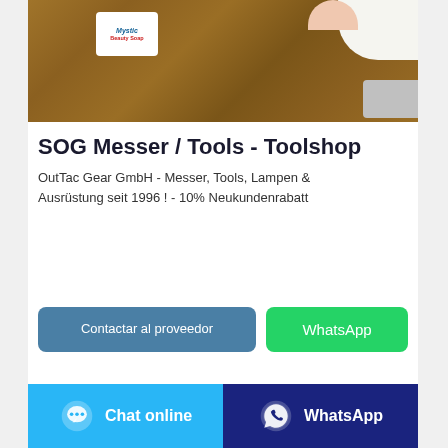[Figure (photo): Product photo showing a Mystic Beauty Soap bar on a wooden surface with a white towel and a pink finger, and a metal object partially visible at the bottom right]
SOG Messer / Tools - Toolshop
OutTac Gear GmbH - Messer, Tools, Lampen & Ausrüstung seit 1996 ! - 10% Neukundenrabatt
Contactar al proveedor
WhatsApp
Chat online
WhatsApp